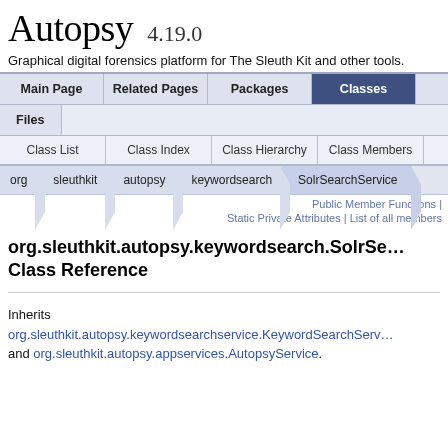Autopsy  4.19.0
Graphical digital forensics platform for The Sleuth Kit and other tools.
Main Page | Related Pages | Packages | Classes
Files
Class List | Class Index | Class Hierarchy | Class Members
org > sleuthkit > autopsy > keywordsearch > SolrSearchService
Public Member Functions | Static Private Attributes | List of all members
org.sleuthkit.autopsy.keywordsearch.SolrSearchService Class Reference
Inherits org.sleuthkit.autopsy.keywordsearchservice.KeywordSearchServ... and org.sleuthkit.autopsy.appservices.AutopsyService.